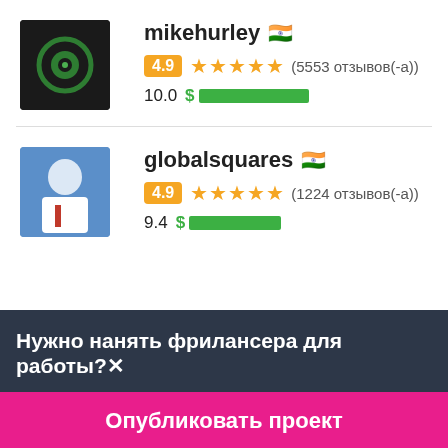[Figure (photo): Avatar for mikehurley: dark background with green circular logo icon]
mikehurley 🇮🇳
4.9 ★★★★★ (5553 отзывов(-а))
10.0 $ ██████████
[Figure (photo): Avatar for globalsquares: person in white shirt with red tie, blue background]
globalsquares 🇮🇳
4.9 ★★★★★ (1224 отзывов(-а))
9.4 $ █████████
Нужно нанять фрилансера для работы?✕
Опубликовать проект